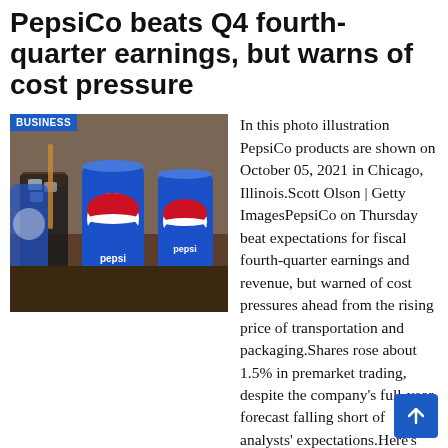PepsiCo beats Q4 fourth-quarter earnings, but warns of cost pressure
[Figure (photo): Photo illustration of PepsiCo products — Pepsi cans and a glass with ice, with 'BUSINESS' tag overlay. Scott Olson | Getty Images.]
In this photo illustration PepsiCo products are shown on October 05, 2021 in Chicago, Illinois.Scott Olson | Getty ImagesPepsiCo on Thursday beat expectations for fiscal fourth-quarter earnings and revenue, but warned of cost pressures ahead from the rising price of transportation and packaging.Shares rose about 1.5% in premarket trading, despite the company's full-year forecast falling short of analysts' expectations.Here's what the company reported compared to what Wall